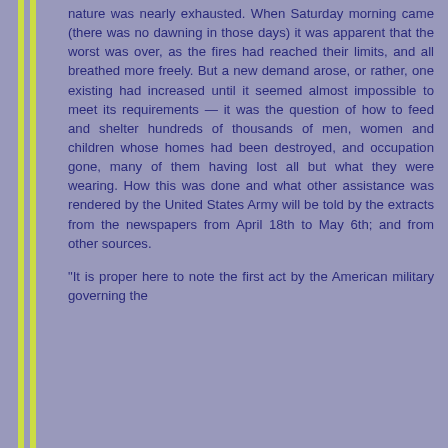nature was nearly exhausted. When Saturday morning came (there was no dawning in those days) it was apparent that the worst was over, as the fires had reached their limits, and all breathed more freely. But a new demand arose, or rather, one existing had increased until it seemed almost impossible to meet its requirements — it was the question of how to feed and shelter hundreds of thousands of men, women and children whose homes had been destroyed, and occupation gone, many of them having lost all but what they were wearing. How this was done and what other assistance was rendered by the United States Army will be told by the extracts from the newspapers from April 18th to May 6th; and from other sources.
"It is proper here to note the first act by the American military governing the...